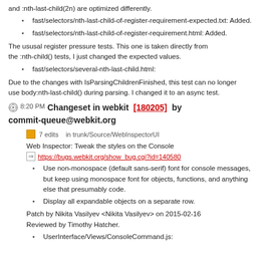and :nth-last-child(2n) are optimized differently.
fast/selectors/nth-last-child-of-register-requirement-expected.txt: Added.
fast/selectors/nth-last-child-of-register-requirement.html: Added.
The ususal register pressure tests. This one is taken directly from the :nth-child() tests, I just changed the expected values.
fast/selectors/several-nth-last-child.html:
Due to the changes with IsParsingChildrenFinished, this test can no longer use body:nth-last-child() during parsing. I changed it to an async test.
8:20 PM Changeset in webkit [180205] by commit-queue@webkit.org
7 edits   in trunk/Source/WebInspectorUI
Web Inspector: Tweak the styles on the Console
https://bugs.webkit.org/show_bug.cgi?id=140580
Use non-monospace (default sans-serif) font for console messages, but keep using monospace font for objects, functions, and anything else that presumably code.
Display all expandable objects on a separate row.
Patch by Nikita Vasilyev <Nikita Vasilyev> on 2015-02-16
Reviewed by Timothy Hatcher.
UserInterface/Views/ConsoleCommand.js: